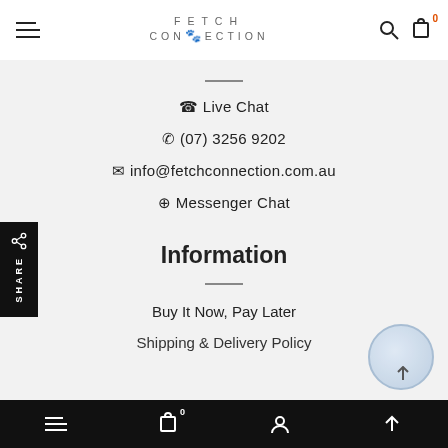FETCH CONNECTION
☎ Live Chat
✆ (07) 3256 9202
✉ info@fetchconnection.com.au
⊕ Messenger Chat
Information
Buy It Now, Pay Later
Shipping & Delivery Policy
Bottom navigation bar with menu, cart (0), profile, and up icons